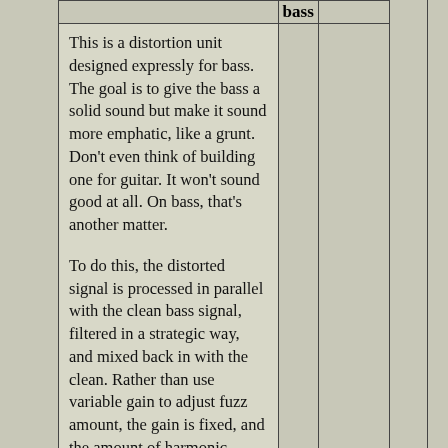|  | bass |  |
| --- | --- | --- |
| This is a distortion unit designed expressly for bass. The goal is to give the bass a solid sound but make it sound more emphatic, like a grunt. Don't even think of building one for guitar. It won't sound good at all. On bass, that's another matter.

To do this, the distorted signal is processed in parallel with the clean bass signal, filtered in a strategic way, and mixed back in with the clean. Rather than use variable gain to adjust fuzz amount, the gain is fixed, and the amount of harmonic emphasis to be added is varied. This gives the same quality of fuzz at all mix levels. The Harmonic Level control ranges from just a hint of grunt to almost more grunt |  |  |